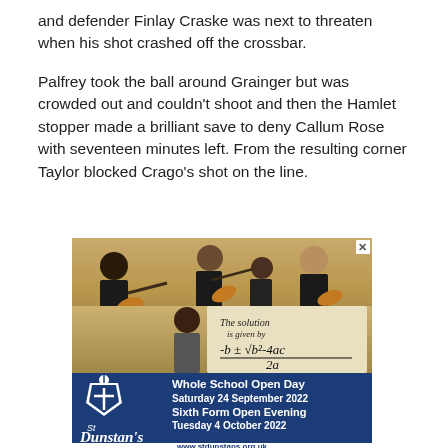and defender Finlay Craske was next to threaten when his shot crashed off the crossbar.
Palfrey took the ball around Grainger but was crowded out and couldn't shoot and then the Hamlet stopper made a brilliant save to deny Callum Rose with seventeen minutes left. From the resulting corner Taylor blocked Crago's shot on the line.
[Figure (photo): Advertisement for St Dunstan's school showing orchestra students playing violins in the top half, and a student holding a board with the quadratic formula. Bottom section shows the St Dunstan's logo and text: Whole School Open Day Saturday 24 September 2022, Sixth Form Open Evening Tuesday 4 October 2022, www.stdunstans.org.uk]